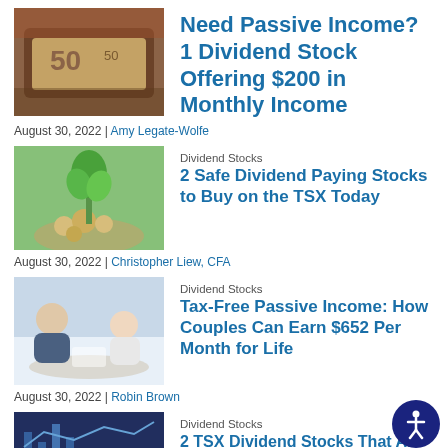[Figure (photo): Photo of wallet with Canadian $50 bills]
Need Passive Income? 1 Dividend Stock Offering $200 in Monthly Income
August 30, 2022 | Amy Legate-Wolfe
[Figure (photo): Photo of green plant sprouting from coins]
Dividend Stocks
2 Safe Dividend Paying Stocks to Buy on the TSX Today
August 30, 2022 | Christopher Liew, CFA
[Figure (photo): Photo of a couple talking with a financial advisor]
Dividend Stocks
Tax-Free Passive Income: How Couples Can Earn $652 Per Month for Life
August 30, 2022 | Robin Brown
[Figure (photo): Photo of stock chart on a digital screen]
Dividend Stocks
2 TSX Dividend Stocks That Are